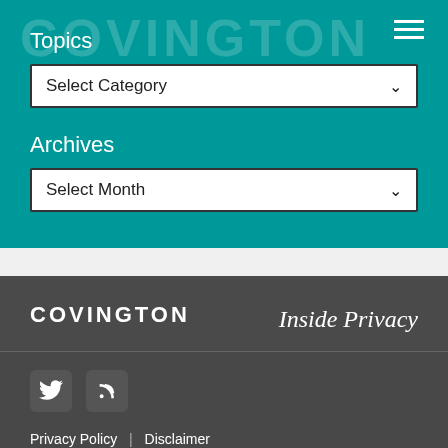Topics
Select Category
Archives
Select Month
COVINGTON
Inside Privacy
[Figure (logo): Twitter bird icon in rounded square]
[Figure (logo): RSS feed icon in rounded square]
Privacy Policy | Disclaimer